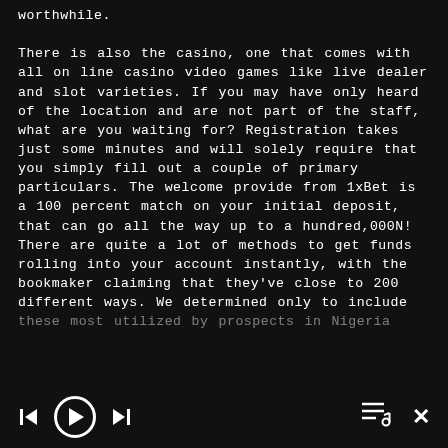worthwhile.

There is also the casino, one that comes with all on line casino video games like live dealer and slot varieties. If you may have only heard of the location and are not part of the staff, what are you waiting for? Registration takes just some minutes and will solely require that you simply fill out a couple of primary particulars. The welcome provide from 1xBet is a 100 percent match on your initial deposit, that can go all the way up to a hundred,000N! There are quite a lot of methods to get funds rolling into your account instantly, with the bookmaker claiming that they've close to 200 different ways. We determined only to include these most utilized by prospects in Nigeria